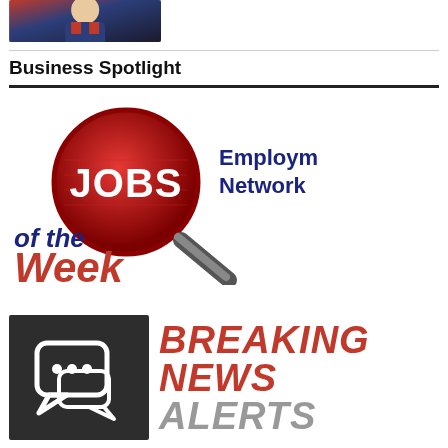[Figure (photo): Partial photo of a person, cropped at top of page]
Business Spotlight
[Figure (logo): JOBS Employment Network of the Week logo — magnifying glass with 'JOBS' in red, 'Employment Network' in navy blue, 'of the Week' in red and navy]
[Figure (logo): Breaking News Alerts — dark square with chat bubble icon on left, 'BREAKING NEWS ALERTS' text in red and gray on right]